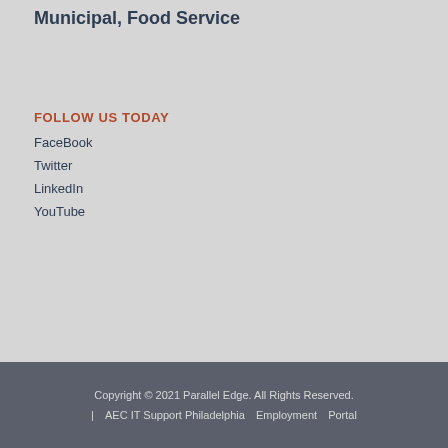Municipal, Food Service
FOLLOW US TODAY
FaceBook
Twitter
LinkedIn
YouTube
Copyright © 2021 Parallel Edge. All Rights Reserved. | AEC IT Support Philadelphia  Employment  Portal